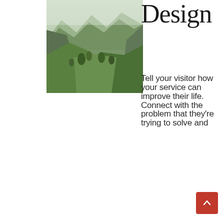[Figure (photo): Mountain valley landscape with green terraced hills and rocky slopes, misty mountains in the background]
Design
Tell your visitor how your service can improve their life. Connect with the problem that they're trying to solve and
[Figure (other): Red scroll-to-top button with upward chevron arrow]